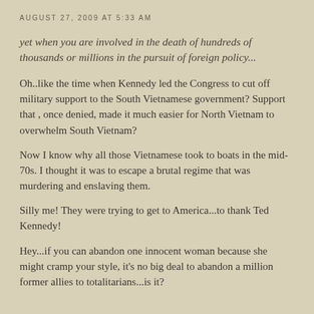AUGUST 27, 2009 AT 5:33 AM
yet when you are involved in the death of hundreds of thousands or millions in the pursuit of foreign policy...
Oh..like the time when Kennedy led the Congress to cut off military support to the South Vietnamese government?  Support that , once denied, made it much easier for North Vietnam to overwhelm South Vietnam?
Now I know why all those Vietnamese took to boats in the mid-70s.  I thought it was to escape a brutal regime that was murdering and enslaving them.
Silly me!  They were trying to get to America...to thank Ted Kennedy!
Hey...if you can abandon one innocent woman because she might cramp your style, it's no big deal to abandon a million former allies to totalitarians...is it?